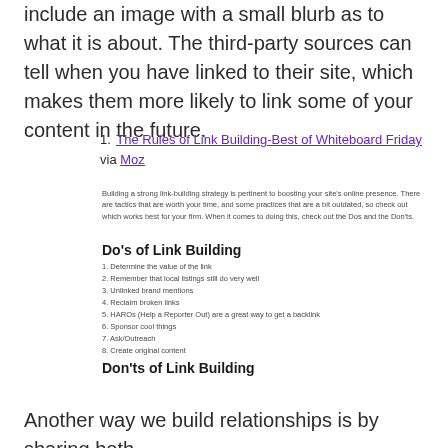include an image with a small blurb as to what it is about. The third-party sources can tell when you have linked to their site, which makes them more likely to link some of your content in the future.
1. The Rules of Link Building-Best of Whiteboard Friday via Moz
Building a strong link-building strategy is pertinent to boosting your site's online presence. There are tactics that are worth your time, and some practices that are a bit outdated, so check out which works best for your firm. When it comes to doing this, check out the Dos and the Don'ts.
Do's of Link Building
1. Determine the value of the link
2. Remember that local listings still do very well
3. Unlinked brand mentions
4. Reclaim broken links
5. HAROs (Help a Reporter Out) are a great way to get a backlink
6. Sponsor cool things
7. Ask/Outreach
8. Create original content
Don'ts of Link Building
Another way we build relationships is by sharing both